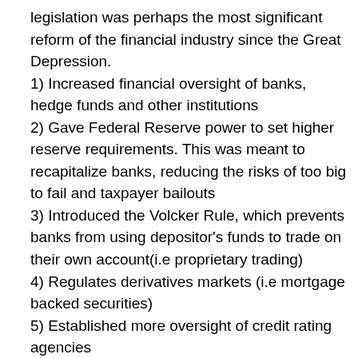legislation was perhaps the most significant reform of the financial industry since the Great Depression.
1) Increased financial oversight of banks, hedge funds and other institutions
2) Gave Federal Reserve power to set higher reserve requirements. This was meant to recapitalize banks, reducing the risks of too big to fail and taxpayer bailouts
3) Introduced the Volcker Rule, which prevents banks from using depositor's funds to trade on their own account(i.e proprietary trading)
4) Regulates derivatives markets (i.e mortgage backed securities)
5) Established more oversight of credit rating agencies
6) Establish the Consumer Financial Protection Bureau, an agency that oversees consumer loans and regulates lending